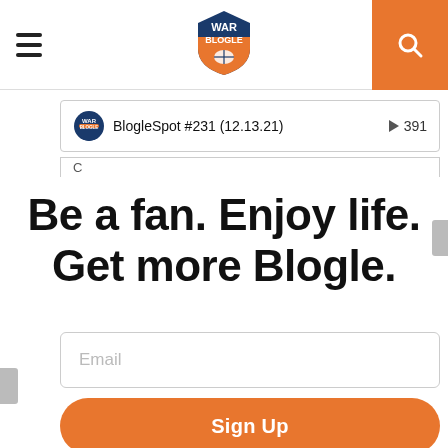War Blogle
BlogleSpot #231 (12.13.21) ▶ 391
Be a fan. Enjoy life. Get more Blogle.
Email
Sign Up